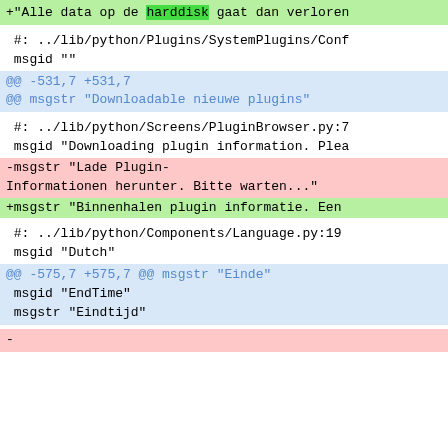+"Alle data op de harddisk gaat dan verloren
#: ../lib/python/Plugins/SystemPlugins/Conf
msgid ""
@@ -531,7 +531,7
@@ msgstr "Downloadable nieuwe plugins"
#: ../lib/python/Screens/PluginBrowser.py:7
msgid "Downloading plugin information. Plea
-msgstr "Lade Plugin-
Informationen herunter. Bitte warten..."
+msgstr "Binnenhalen plugin informatie. Een
#: ../lib/python/Components/Language.py:19
msgid "Dutch"
@@ -575,7 +575,7 @@ msgstr "Einde"
 msgid "EndTime"
 msgstr "Eindtijd"
-